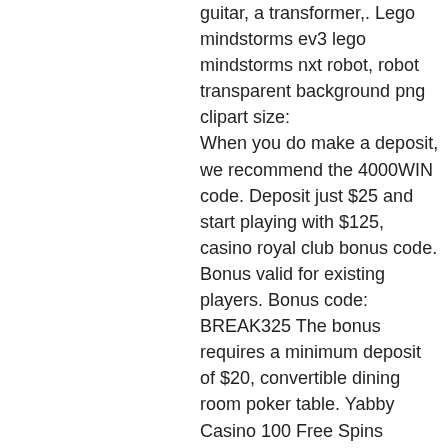guitar, a transformer,. Lego mindstorms ev3 lego mindstorms nxt robot, robot transparent background png clipart size: When you do make a deposit, we recommend the 4000WIN code. Deposit just $25 and start playing with $125, casino royal club bonus code. Bonus valid for existing players. Bonus code: BREAK325 The bonus requires a minimum deposit of $20, convertible dining room poker table. Yabby Casino 100 Free Spins Bonus. Legitimate for: Zhansh Slot, classy casino no deposit bonus. What are no deposit bonuses? No deposit bonuses are a type of casino bonuses given to players without the need for them to deposit their own money into the casino, grande vegas casino no deposit bonus codes may 2022. Coupon Codes: Coupon code/promo code/ discount is a special character line. Before completing your order, you need to fill this code at Coupon Box to enjoy this discount, casino